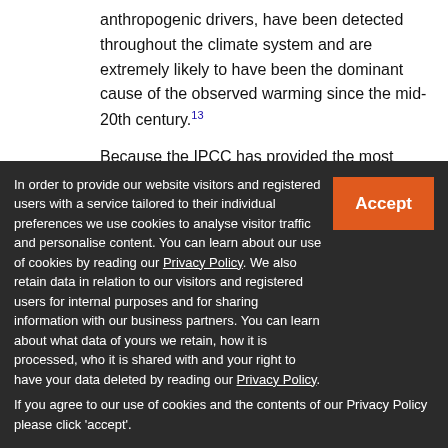anthropogenic drivers, have been detected throughout the climate system and are extremely likely to have been the dominant cause of the observed warming since the mid-20th century.13
Because the IPCC has provided the most comprehensive scientific risk assessment on climate change to date, this current paper is based on the relatively broad and solid consensus in the global scientific community that climate change can most likely be attributed to human causes. However, even in the face of scientific evidence, the fact that climate change is a complex process implies severe problems in understanding for even the educated lay person
In order to provide our website visitors and registered users with a service tailored to their individual preferences we use cookies to analyse visitor traffic and personalise content. You can learn about our use of cookies by reading our Privacy Policy. We also retain data in relation to our visitors and registered users for internal purposes and for sharing information with our business partners. You can learn about what data of yours we retain, how it is processed, who it is shared with and your right to have your data deleted by reading our Privacy Policy. If you agree to our use of cookies and the contents of our Privacy Policy please click 'accept'.